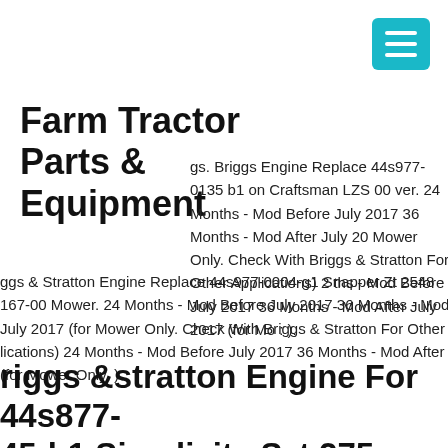[Figure (other): Teal/cyan hamburger menu button in top right corner]
Farm Tractor Parts & Equipment
gs. Briggs Engine Replace 44s977-0135 b1 on Craftsman LZS 00 ver. 24 Months - Mod Before July 2017 36 Months - Mod After July 20 Mower Only. Check With Briggs & Stratton For Other Applications) 2 ths - Mod Before July 2017 36 Months - Mod After July 2017 (for Mo : ).
ggs & Stratton Engine Replace 44s977-0004-g1 Snapper Zt 2548 167-00 Mower. 24 Months - Mod Before July 2017 36 Months - Mod r July 2017 (for Mower Only. Check With Briggs & Stratton For Other lications) 24 Months - Mod Before July 2017 36 Months - Mod After J (for Mower Only. ).
Briggs &stratton Engine For 44s877-45-b1 Simplicity Szt 275 (2691460-) Mower...